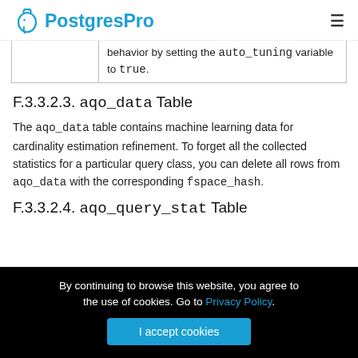PostgresPro
|  | behavior by setting the auto_tuning variable to true. |
F.3.3.2.3. aqo_data Table
The aqo_data table contains machine learning data for cardinality estimation refinement. To forget all the collected statistics for a particular query class, you can delete all rows from aqo_data with the corresponding fspace_hash.
F.3.3.2.4. aqo_query_stat Table
By continuing to browse this website, you agree to the use of cookies. Go to Privacy Policy.